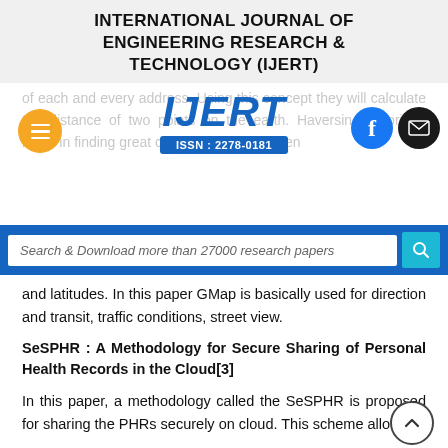INTERNATIONAL JOURNAL OF ENGINEERING RESEARCH & TECHNOLOGY (IJERT)
[Figure (logo): IJERT logo with stylized letters and ISSN: 2278-0181 below, with orange hamburger menu icon on left and Facebook/email icons on right, overlaid on faded body text]
[Figure (other): Search bar: Search & Download more than 27000 research papers, with blue search button]
and latitudes. In this paper GMap is basically used for direction and transit, traffic conditions, street view.
SeSPHR : A Methodology for Secure Sharing of Personal Health Records in the Cloud[3]
In this paper, a methodology called the SeSPHR is proposed for sharing the PHRs securely on cloud. This scheme allows to